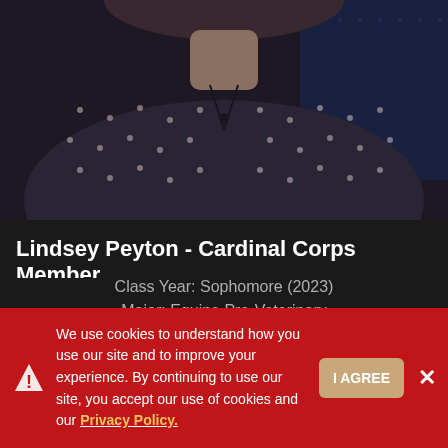[Figure (photo): Profile photo of Lindsey Peyton wearing a dark polka-dot shirt, curly hair visible at top, dark background]
Lindsey Peyton - Cardinal Corps Member
Class Year: Sophomore (2023)
Major: Equine Pre-Veterinary
Hometown: North Canton, OH
We use cookies to understand how you use our site and to improve your experience. By continuing to use our site, you accept our use of cookies and our Privacy Policy.